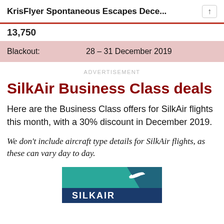KrisFlyer Spontaneous Escapes Dece...
| 13,750 |  |
| Blackout: | 28 – 31 December 2019 |
ADVERTISEMENT
SilkAir Business Class deals
Here are the Business Class offers for SilkAir flights this month, with a 30% discount in December 2019.
We don't include aircraft type details for SilkAir flights, as these can vary day to day.
[Figure (logo): SilkAir logo with teal and dark blue background and white airplane silhouette and SILKAIR text]